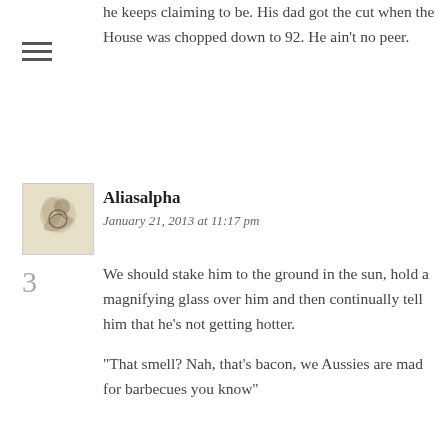he keeps claiming to be. His dad got the cut when the House was chopped down to 92. He ain't no peer.
[Figure (illustration): Small avatar image showing a decorative illustration on a beige/tan background]
Aliasalpha
January 21, 2013 at 11:17 pm
3
We should stake him to the ground in the sun, hold a magnifying glass over him and then continually tell him that he's not getting hotter.

“That smell? Nah, that’s bacon, we Aussies are mad for barbecues you know”